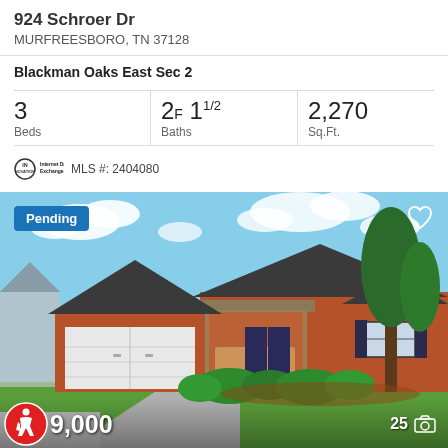924 Schroer Dr
MURFREESBORO, TN 37128
Blackman Oaks East Sec 2
| Beds | Baths | Sq.Ft. |
| --- | --- | --- |
| 3 | 2F 1 1/2 | 2,270 |
MLS #: 2404080
[Figure (photo): Exterior photo of a brick ranch house with two-car garage, covered porch, manicured shrubs and green lawn. Shows 'Pending' badge in top-left corner, heart icon top-right, accessibility icon and price bottom-left, photo count bottom-right.]
Pending
9,000
25